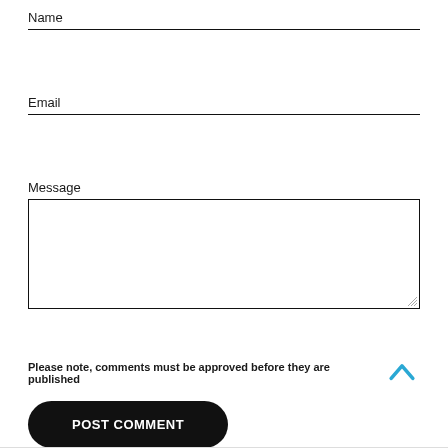Name
Email
Message
Please note, comments must be approved before they are published
POST COMMENT